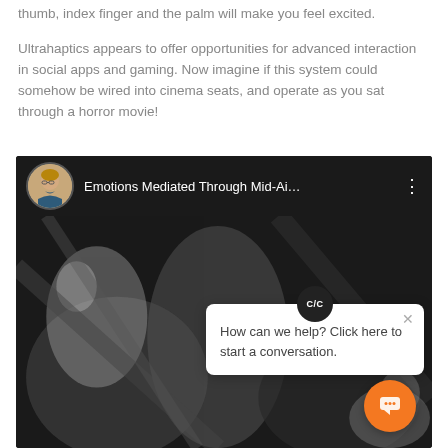thumb, index finger and the palm will make you feel excited.
Ultrahaptics appears to offer opportunities for advanced interaction in social apps and gaming. Now imagine if this system could somehow be wired into cinema seats, and operate as you sat through a horror movie!
[Figure (screenshot): Screenshot of a YouTube video titled 'Emotions Mediated Through Mid-Ai...' with a female presenter avatar, overlaid by a chat popup widget saying 'How can we help? Click here to start a conversation.' with a C/C badge and orange chat button in the bottom right corner. The video content shows a black and white scene.]